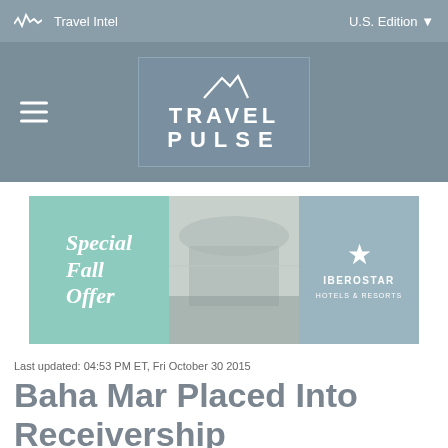Travel Intel | U.S. Edition
[Figure (logo): TravelPulse logo with mountain icon, white text on blue-grey background]
[Figure (infographic): Iberostar Hotels & Resorts Special Fall Offer advertisement banner with teal left panel, aerial beach photo center, and grey right panel with star logo]
Last updated: 04:53 PM ET, Fri October 30 2015
Baha Mar Placed Into Receivership
HOTEL & RESORT | BRIAN MAJOR | OCTOBER 30, 2015
[Figure (infographic): Social sharing buttons: Facebook, Twitter, LinkedIn, Flipboard, Email, Plus]
[Figure (photo): Hero image of Baha Mar resort, partially visible at bottom of page]